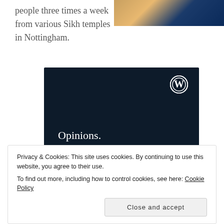people three times a week from various Sikh temples in Nottingham.
[Figure (photo): Partial photo visible at top right corner, appears to show a person with blue and gold tones]
[Figure (screenshot): WordPress.com advertisement banner with dark navy background showing 'Opinions. We all have them!' text with WordPress logo, a pink button, and a light circle element at bottom right]
Privacy & Cookies: This site uses cookies. By continuing to use this website, you agree to their use.
To find out more, including how to control cookies, see here: Cookie Policy
Close and accept